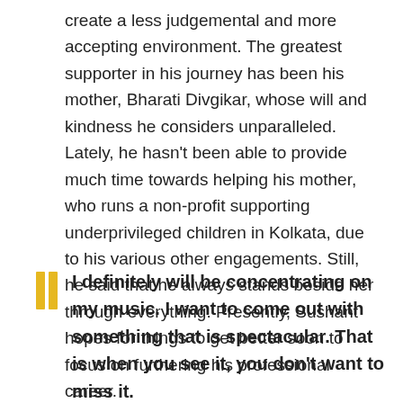create a less judgemental and more accepting environment. The greatest supporter in his journey has been his mother, Bharati Divgikar, whose will and kindness he considers unparalleled. Lately, he hasn't been able to provide much time towards helping his mother, who runs a non-profit supporting underprivileged children in Kolkata, due to his various other engagements. Still, he said that he always stands beside her through everything. Presently, Sushant hopes for things to get better soon to focus on furthering his professional career.
I definitely will be concentrating on my music. I want to come out with something that is spectacular. That is when you see it, you don't want to miss it.